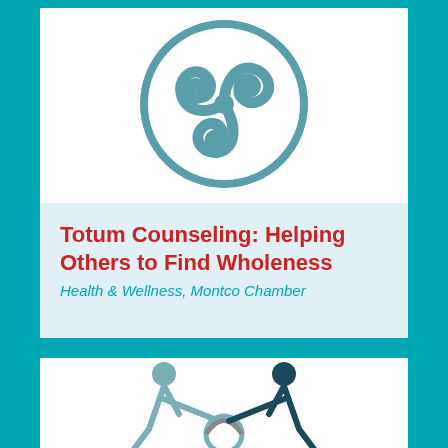[Figure (logo): Triskelion / triple spiral symbol inside a circle, rendered in teal/steel blue color. Totum Counseling logo.]
Totum Counseling: Helping Others to Find Wholeness
Health & Wellness, Montco Chamber
[Figure (illustration): Two human figures (one gray, one dark teal) reaching toward each other over a circular shape, symbolizing helping/connection.]